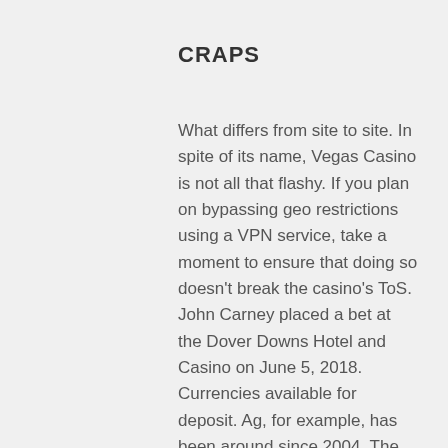CRAPS
What differs from site to site. In spite of its name, Vegas Casino is not all that flashy. If you plan on bypassing geo restrictions using a VPN service, take a moment to ensure that doing so doesn't break the casino's ToS. John Carney placed a bet at the Dover Downs Hotel and Casino on June 5, 2018. Currencies available for deposit. Ag, for example, has been around since 2004. The tax rate for cryptocurrencies is the same as for capital gains. With over 4000 slots and casino games at your disposal including popular bitcoin games, iLUCKi is THE only casino brand you'll need. Though this may help CloudBet further envelope players in a theme it can aslo make navigating the site more tedious. This casino is considered one of the best mobile casino sites. Cryptocurrencies accepted besides Bitcoin: Bitcoin Cash, Litecoin, Dogecoin, Ethereum, Zcash, TRON, Dash, and Monero. These include Bitcoin, BCH, Ethereum, Dogecoin, and Litecoin. Once you put your money into standard casino applications that happen to